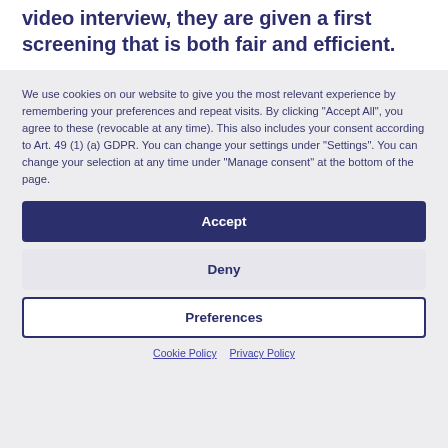video interview, they are given a first screening that is both fair and efficient.
We use cookies on our website to give you the most relevant experience by remembering your preferences and repeat visits. By clicking "Accept All", you agree to these (revocable at any time). This also includes your consent according to Art. 49 (1) (a) GDPR. You can change your settings under "Settings". You can change your selection at any time under "Manage consent" at the bottom of the page.
Accept
Deny
Preferences
Cookie Policy   Privacy Policy